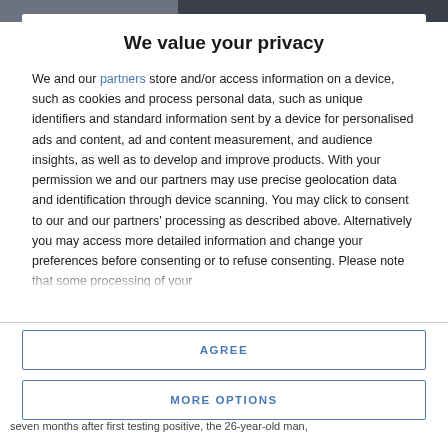We value your privacy
We and our partners store and/or access information on a device, such as cookies and process personal data, such as unique identifiers and standard information sent by a device for personalised ads and content, ad and content measurement, and audience insights, as well as to develop and improve products. With your permission we and our partners may use precise geolocation data and identification through device scanning. You may click to consent to our and our partners' processing as described above. Alternatively you may access more detailed information and change your preferences before consenting or to refuse consenting. Please note that some processing of your
AGREE
MORE OPTIONS
seven months after first testing positive, the 26-year-old man,